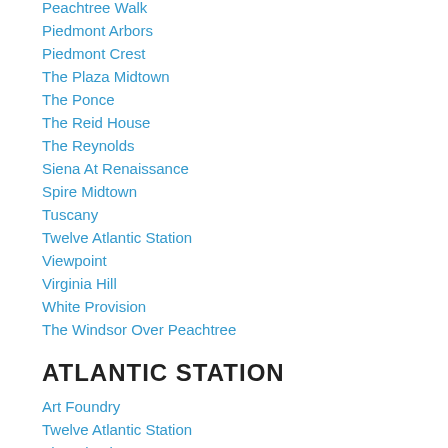Peachtree Walk
Piedmont Arbors
Piedmont Crest
The Plaza Midtown
The Ponce
The Reid House
The Reynolds
Siena At Renaissance
Spire Midtown
Tuscany
Twelve Atlantic Station
Viewpoint
Virginia Hill
White Provision
The Windsor Over Peachtree
ATLANTIC STATION
Art Foundry
Twelve Atlantic Station
The Atlantic